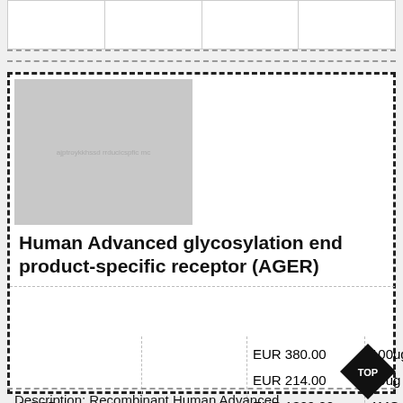|   |   |   |   |
Human Advanced glycosylation end product-specific receptor (AGER)
| Catalog | Supplier | Price | Quantity |
| --- | --- | --- | --- |
| 1-CSB-RP142074h | Cusabio | EUR 380.00 | 100ug |
|  |  | EUR 214.00 | 10ug |
|  |  | EUR 1309.00 | 1MG |
|  |  | EUR 560.00 | 200ug |
|  |  | EUR 873.00 | 500ug |
|  |  | EUR 262.00 | 50ug |
Description: Recombinant Human Advanced